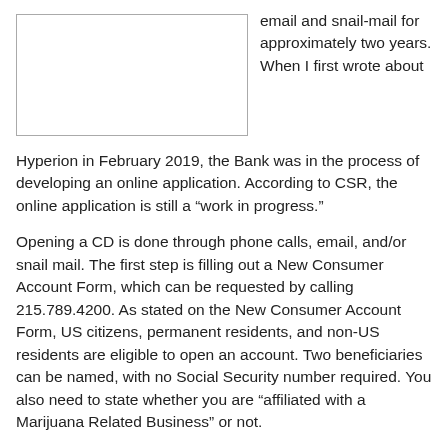[Figure (other): Image placeholder with border (appears to be a bank or building photo, partially visible)]
email and snail-mail for approximately two years. When I first wrote about Hyperion in February 2019, the Bank was in the process of developing an online application. According to CSR, the online application is still a “work in progress.”
Opening a CD is done through phone calls, email, and/or snail mail. The first step is filling out a New Consumer Account Form, which can be requested by calling 215.789.4200. As stated on the New Consumer Account Form, US citizens, permanent residents, and non-US residents are eligible to open an account. Two beneficiaries can be named, with no Social Security number required. You also need to state whether you are “affiliated with a Marijuana Related Business” or not.
If you live in the greater Philadelphia metropolitan area, you can also open a CD at the the sole Philadelphia branch in the historic Eighth National Bank building (built in 1871) located